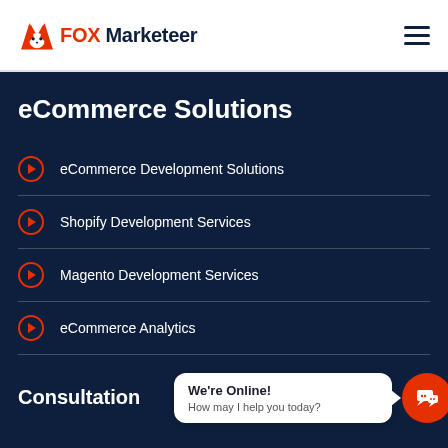FOX Marketeer
eCommerce Solutions
eCommerce Development Solutions
Shopify Development Services
Magento Development Services
eCommerce Analytics
Consultation
We're Online! How may I help you today?